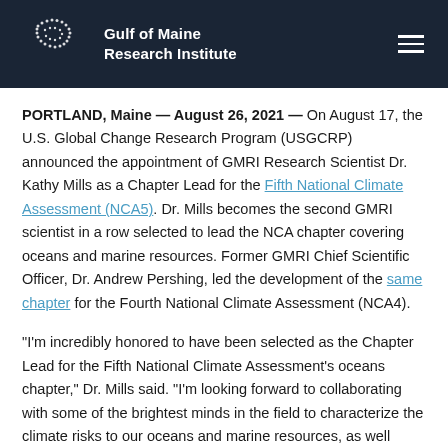Gulf of Maine Research Institute
PORTLAND, Maine — August 26, 2021 — On August 17, the U.S. Global Change Research Program (USGCRP) announced the appointment of GMRI Research Scientist Dr. Kathy Mills as a Chapter Lead for the Fifth National Climate Assessment (NCA5). Dr. Mills becomes the second GMRI scientist in a row selected to lead the NCA chapter covering oceans and marine resources. Former GMRI Chief Scientific Officer, Dr. Andrew Pershing, led the development of the same chapter for the Fourth National Climate Assessment (NCA4).
"I'm incredibly honored to have been selected as the Chapter Lead for the Fifth National Climate Assessment's oceans chapter," Dr. Mills said. "I'm looking forward to collaborating with some of the brightest minds in the field to characterize the climate risks to our oceans and marine resources, as well